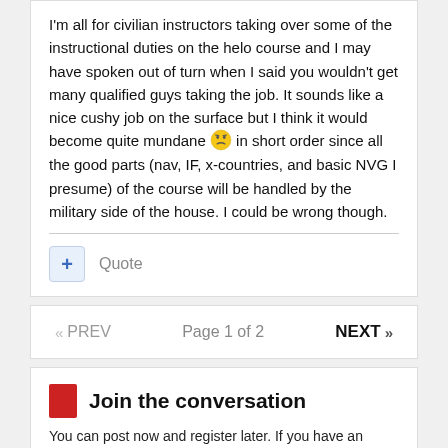I'm all for civilian instructors taking over some of the instructional duties on the helo course and I may have spoken out of turn when I said you wouldn't get many qualified guys taking the job. It sounds like a nice cushy job on the surface but I think it would become quite mundane 😒 in short order since all the good parts (nav, IF, x-countries, and basic NVG I presume) of the course will be handled by the military side of the house. I could be wrong though.
Quote
« PREV   Page 1 of 2   NEXT »
Join the conversation
You can post now and register later. If you have an account, sign in now to post with your account.